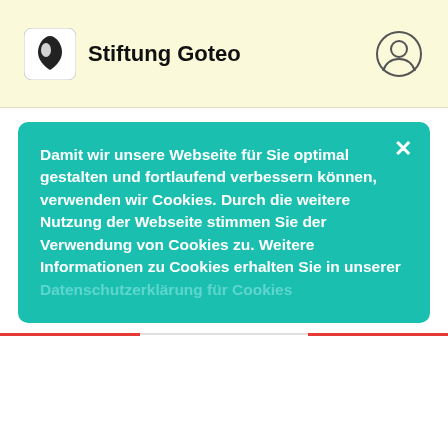Stiftung Goteo
Damit wir unsere Webseite für Sie optimal gestalten und fortlaufend verbessern können, verwenden wir Cookies. Durch die weitere Nutzung der Webseite stimmen Sie der Verwendung von Cookies zu. Weitere Informationen zu Cookies erhalten Sie in unserer Datenschutzerklärung für Cookies